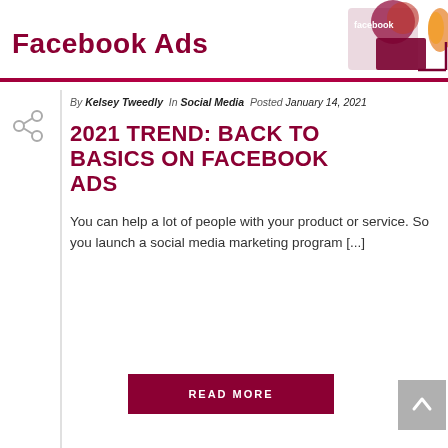Facebook Ads
By Kelsey Tweedly In Social Media Posted January 14, 2021
2021 TREND: BACK TO BASICS ON FACEBOOK ADS
You can help a lot of people with your product or service. So you launch a social media marketing program [...]
READ MORE